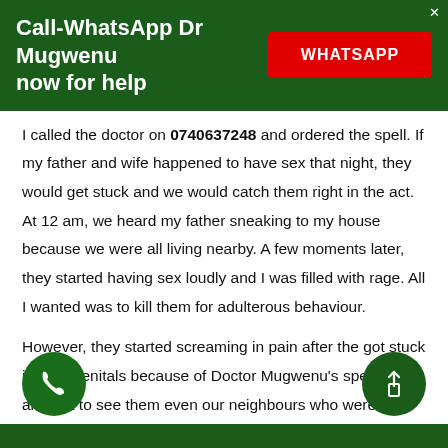Call-WhatsApp Dr Mugwenu now for help
I called the doctor on 0740637248 and ordered the spell. If my father and wife happened to have sex that night, they would get stuck and we would catch them right in the act. At 12 am, we heard my father sneaking to my house because we were all living nearby. A few moments later, they started having sex loudly and I was filled with rage. All I wanted was to kill them for adulterous behaviour.
However, they started screaming in pain after the got stuck in their genitals because of Doctor Mugwenu's spell. We all went to see them even our neighbours who were awakened by their screams. It was fun seeing them pay for their mistake. Daktari later unstuck them by reversing the spell and we all gave them a beating and asked them to respect my marriage.